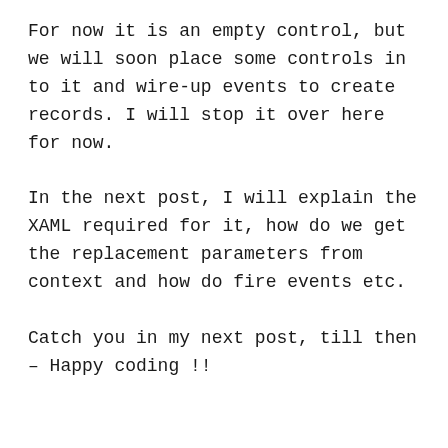For now it is an empty control, but we will soon place some controls in to it and wire-up events to create records. I will stop it over here for now.
In the next post, I will explain the XAML required for it, how do we get the replacement parameters from context and how do fire events etc.
Catch you in my next post, till then – Happy coding !!